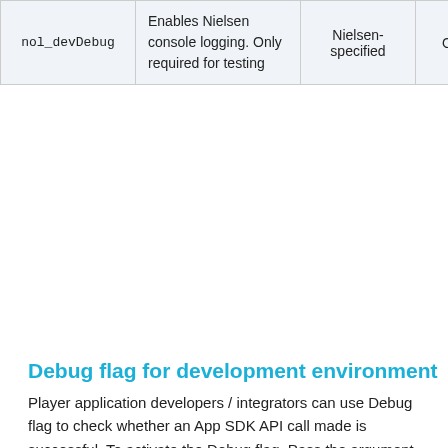|  |  | Nielsen-specified | Optional | "DEBU |
| --- | --- | --- | --- | --- |
| nol_devDebug | Enables Nielsen console logging. Only required for testing | Nielsen-specified | Optional | "DEBU |
Debug flag for development environment
Player application developers / integrators can use Debug flag to check whether an App SDK API call made is successful. To activate the Debug flag, Pass the argument @"nol_devDebug":@"INFO" , in the JSON string . The permitted values are:
INFO: Displays the API calls and the input data from the application (validate player name, app ID, etc.). It can be used as certification Aid.
WARN: Indicates potential integration / configuration